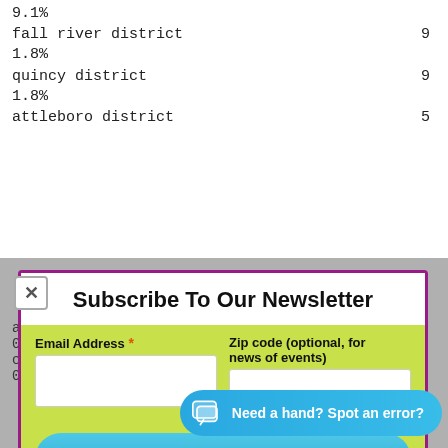9.1%
| fall river district | 9 |
| 1.8% |  |
| quincy district | 9 |
| 1.8% |  |
| attleboro district | 5 |
Subscribe To Our Newsletter
Email Address * | Zip code (optional, for news of events)
SUBSCRIBE
ayer district  6
0.4%
cambridge dis...
0.4%
Need a hand? Spot an error?